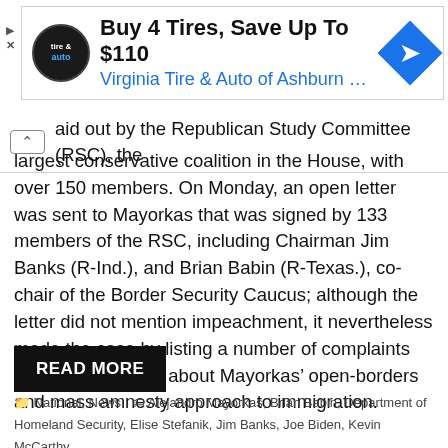[Figure (other): Advertisement banner: Buy 4 Tires, Save Up To $110 - Virginia Tire & Auto of Ashburn with logo and arrow icon]
aid out by the Republican Study Committee (RSC), the largest conservative coalition in the House, with over 150 members. On Monday, an open letter was sent to Mayorkas that was signed by 133 members of the RSC, including Chairman Jim Banks (R-Ind.), and Brian Babin (R-Texas.), co-chair of the Border Security Caucus; although the letter did not mention impeachment, it nevertheless made the case by listing a number of complaints that the group has about Mayorkas’ open-borders and mass amnesty approach to immigration.
READ MORE
National, News  Alejandro Mayorkas, Brian Babin, Department of Homeland Security, Elise Stefanik, Jim Banks, Joe Biden, Kevin McCarthy, Republican Study Committee, Steve Scalise  Leave a comment